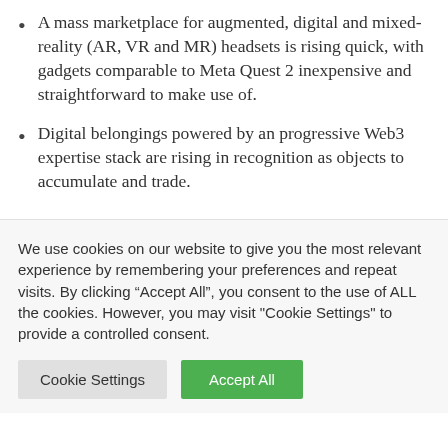A mass marketplace for augmented, digital and mixed-reality (AR, VR and MR) headsets is rising quick, with gadgets comparable to Meta Quest 2 inexpensive and straightforward to make use of.
Digital belongings powered by an progressive Web3 expertise stack are rising in recognition as objects to accumulate and trade.
We use cookies on our website to give you the most relevant experience by remembering your preferences and repeat visits. By clicking “Accept All”, you consent to the use of ALL the cookies. However, you may visit "Cookie Settings" to provide a controlled consent.